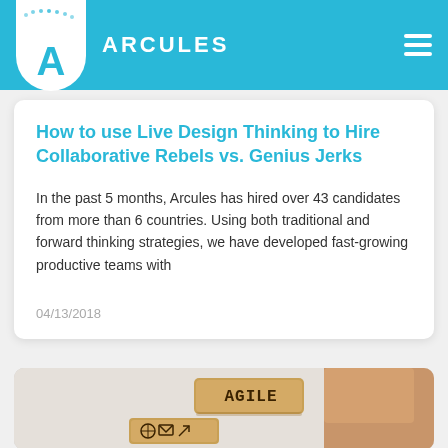ARCULES
How to use Live Design Thinking to Hire Collaborative Rebels vs. Genius Jerks
In the past 5 months, Arcules has hired over 43 candidates from more than 6 countries. Using both traditional and forward thinking strategies, we have developed fast-growing productive teams with
04/13/2018
[Figure (photo): Photo of wooden blocks spelling AGILE being held by a hand, with other icon blocks below]